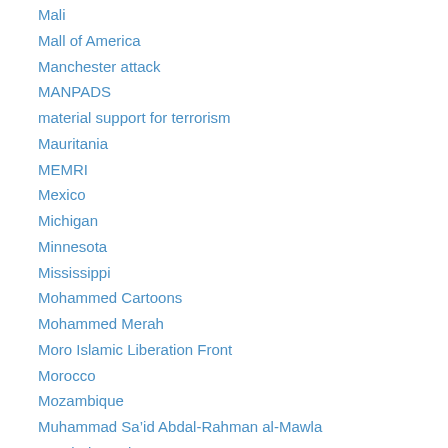Mali
Mall of America
Manchester attack
MANPADS
material support for terrorism
Mauritania
MEMRI
Mexico
Michigan
Minnesota
Mississippi
Mohammed Cartoons
Mohammed Merah
Moro Islamic Liberation Front
Morocco
Mozambique
Muhammad Sa’id Abdal-Rahman al-Mawla
Mumbai attack
Muslim Brotherhood
Muslim Students Association